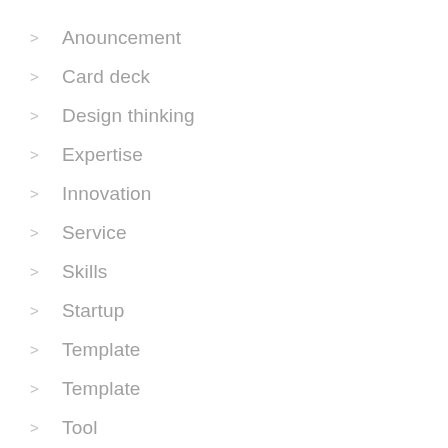Anouncement
Card deck
Design thinking
Expertise
Innovation
Service
Skills
Startup
Template
Template
Tool
Technology